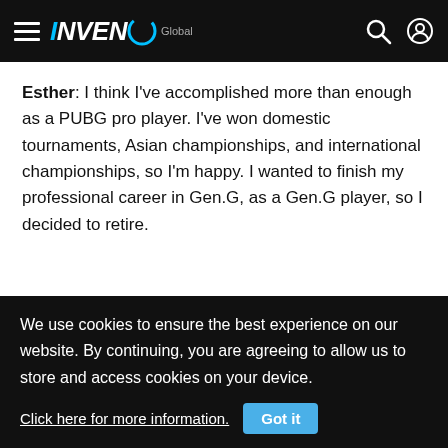INVEN Global
Esther: I think I've accomplished more than enough as a PUBG pro player. I've won domestic tournaments, Asian championships, and international championships, so I'm happy. I wanted to finish my professional career in Gen.G, as a Gen.G player, so I decided to retire.
It's true that you've accomplished a lot, but don't you have any regrets?
We use cookies to ensure the best experience on our website. By continuing, you are agreeing to allow us to store and access cookies on your device. Click here for more information. Got it